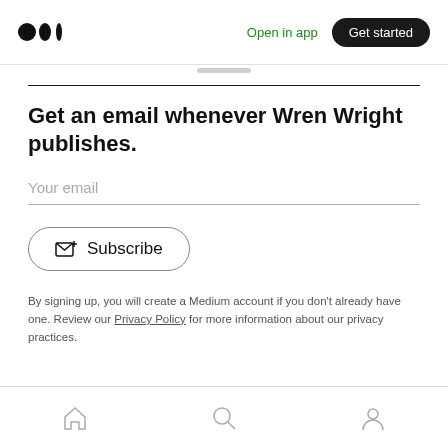Medium logo | Open in app | Get started
Get an email whenever Wren Wright publishes.
Your email
Subscribe
By signing up, you will create a Medium account if you don't already have one. Review our Privacy Policy for more information about our privacy practices.
Home | Search | Profile